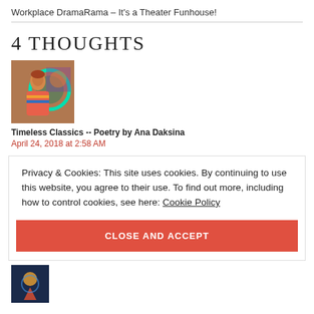Workplace DramaRama – It's a Theater Funhouse!
4 THOUGHTS
[Figure (photo): Avatar image of commenter showing a person with colorful background and circular neon light]
Timeless Classics -- Poetry by Ana Daksina
April 24, 2018 at 2:58 AM
Privacy & Cookies: This site uses cookies. By continuing to use this website, you agree to their use. To find out more, including how to control cookies, see here: Cookie Policy
CLOSE AND ACCEPT
[Figure (photo): Small avatar thumbnail at bottom of page]